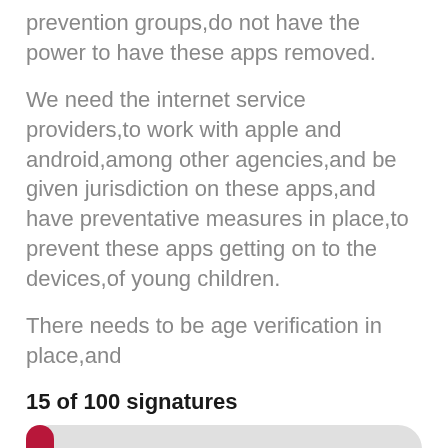prevention groups,do not have the power to have these apps removed.
We need the internet service providers,to work with apple and android,among other agencies,and be given jurisdiction on these apps,and have preventative measures in place,to prevent these apps getting on to the devices,of young children.
There needs to be age verification in place,and
15 of 100 signatures
[Figure (infographic): Progress bar showing 15 of 100 signatures, approximately 15% filled in dark red/crimson on a light grey background with rounded corners.]
SIGN